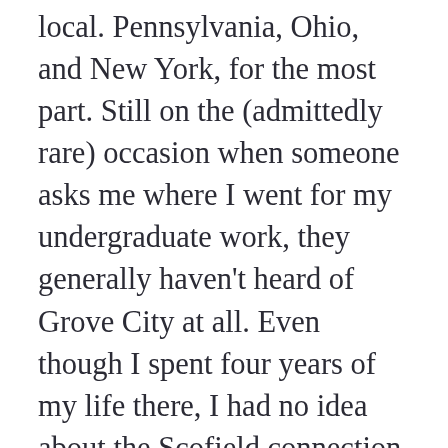local. Pennsylvania, Ohio, and New York, for the most part. Still on the (admittedly rare) occasion when someone asks me where I went for my undergraduate work, they generally haven't heard of Grove City at all. Even though I spent four years of my life there, I had no idea about the Scofield connection until I read Joseph Canfield's book. That's because not all Fundamentalists grow up with Scofield. I'm sure I heard about